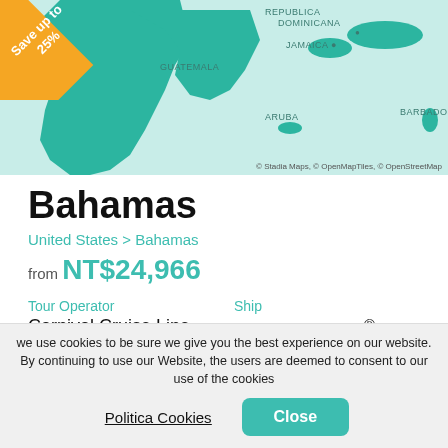[Figure (map): Map of the Caribbean region showing Guatemala, Jamaica, Republica Dominicana, Aruba, and Barbados with teal land masses on a light blue background. A diagonal orange badge in the top-left reads 'Save up to 25%'.]
Bahamas
United States > Bahamas
from NT$24,966
Tour Operator
Carnival Cruise Line
Ship
Carnival Dream ®
Depart from
Galveston
Length
8 Nights
Departure Date
Arrival Date
we use cookies to be sure we give you the best experience on our website. By continuing to use our Website, the users are deemed to consent to our use of the cookies
Politica Cookies
Close